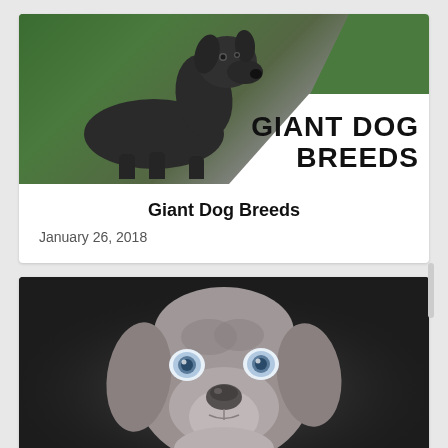[Figure (photo): Dark-colored Great Dane dog sitting on a green background, with text overlay reading GIANT DOG BREEDS in bold black letters on white area]
Giant Dog Breeds
January 26, 2018
[Figure (photo): Close-up portrait of a silver/grey Weimaraner puppy with striking blue eyes looking directly at camera, dark background]